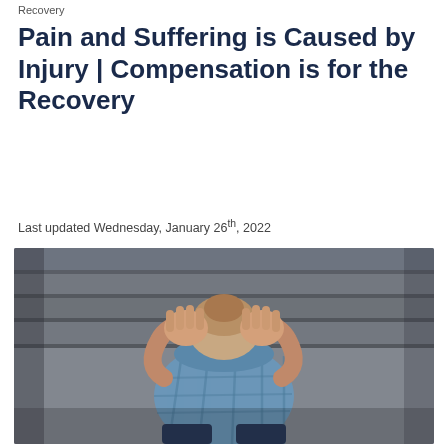Recovery
Pain and Suffering is Caused by Injury | Compensation is for the Recovery
Last updated Wednesday, January 26th, 2022
[Figure (photo): A man sitting on concrete steps with his head bowed down and both hands covering his face, wearing a blue plaid shirt, photographed from behind/side angle in a distressed posture.]